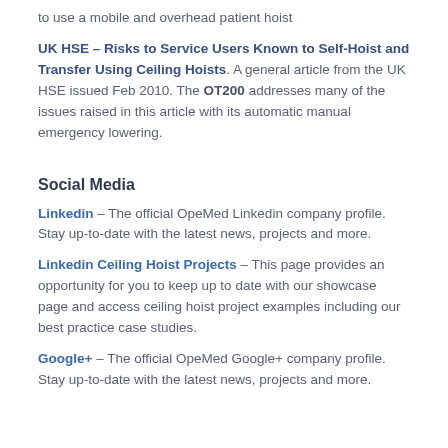to use a mobile and overhead patient hoist
UK HSE – Risks to Service Users Known to Self-Hoist and Transfer Using Ceiling Hoists. A general article from the UK HSE issued Feb 2010. The OT200 addresses many of the issues raised in this article with its automatic manual emergency lowering.
Social Media
Linkedin – The official OpeMed Linkedin company profile. Stay up-to-date with the latest news, projects and more.
Linkedin Ceiling Hoist Projects – This page provides an opportunity for you to keep up to date with our showcase page and access ceiling hoist project examples including our best practice case studies.
Google+ – The official OpeMed Google+ company profile. Stay up-to-date with the latest news, projects and more.